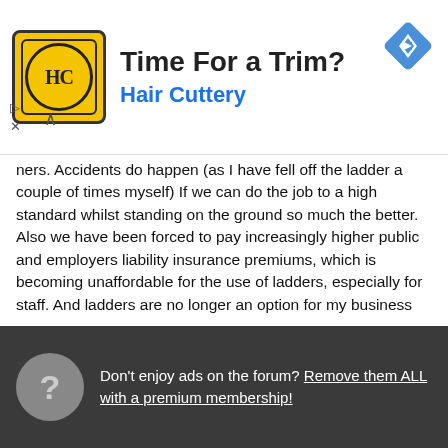[Figure (screenshot): Hair Cuttery advertisement banner with HC logo in yellow circle, blue navigation diamond icon, and collapse/close controls]
ners. Accidents do happen (as I have fell off the ladder a couple of times myself) If we can do the job to a high standard whilst standing on the ground so much the better. Also we have been forced to pay increasingly higher public and employers liability insurance premiums, which is becoming unaffordable for the use of ladders, especially for staff. And ladders are no longer an option for my business
3) Environmentally friendly. Pure water only is used
This site uses cookies to help personalise content, tailor your experience and to keep you logged in if you register.
By continuing to use this site, you are consenting to our use of cookies.
✓ Accept   Learn more...
Don't enjoy ads on the forum? Remove them ALL with a premium membership!